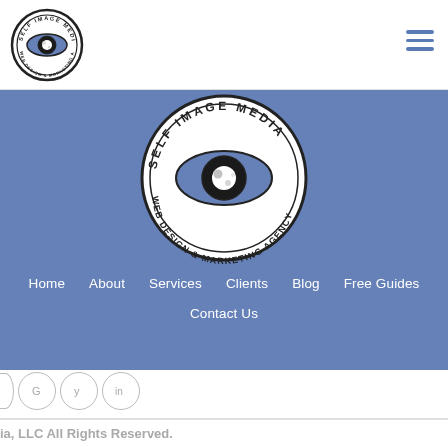[Figure (logo): Self Image Media circular logo — eye with Web Design & Marketing Agency text — small version in header top-left]
[Figure (logo): Self Image Media circular logo — large version centered in blue navigation section]
Home
About
Services
Clients
Blog
Free Guides
Contact Us
[Figure (illustration): Three circular social media icon buttons with outlines — partially cropped on left edge]
ia, LLC All Rights Reserved.